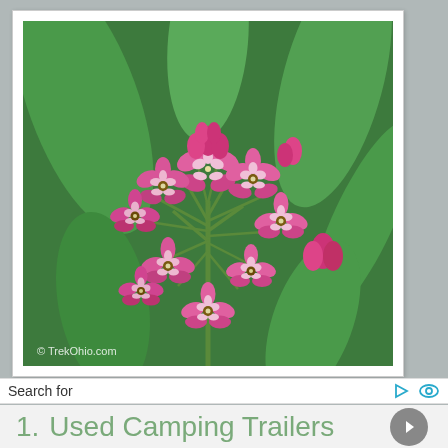[Figure (photo): Close-up photo of pink and white milkweed flowers with green leaves in the background. Watermark reads '© TrekOhio.com' in the lower left.]
Search for
1.  Used Camping Trailers